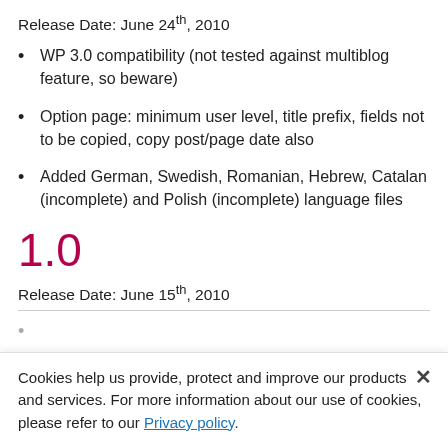Release Date: June 24th, 2010
WP 3.0 compatibility (not tested against multiblog feature, so beware)
Option page: minimum user level, title prefix, fields not to be copied, copy post/page date also
Added German, Swedish, Romanian, Hebrew, Catalan (incomplete) and Polish (incomplete) language files
1.0
Release Date: June 15th, 2010
Cookies help us provide, protect and improve our products and services. For more information about our use of cookies, please refer to our Privacy policy.